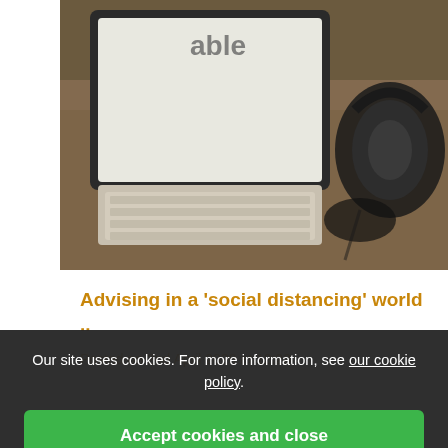[Figure (photo): Photo of a tablet with keyboard and headphones on a wooden desk]
Advising in a 'social distancing' world ..
Posted on 2nd April 2020 at 12:23
Our site uses cookies. For more information, see our cookie policy.
Accept cookies and close
Reject cookies
Manage settings